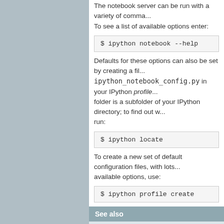The notebook server can be run with a variety of comma... To see a list of available options enter:
$ ipython notebook --help
Defaults for these options can also be set by creating a file ipython_notebook_config.py in your IPython profile folder is a subfolder of your IPython directory; to find out w... run:
$ ipython locate
To create a new set of default configuration files, with lots... available options, use:
$ ipython profile create
See also
Overview of the IPython configuration system, in particular Pr...
Securing a notebook server
Running a public notebook server